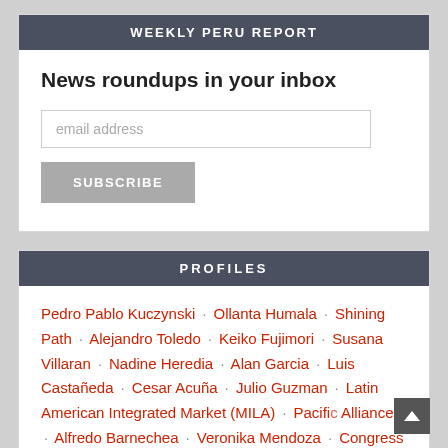WEEKLY PERU REPORT
News roundups in your inbox
email address
SUBSCRIBE
PROFILES
Pedro Pablo Kuczynski · Ollanta Humala · Shining Path · Alejandro Toledo · Keiko Fujimori · Susana Villaran · Nadine Heredia · Alan Garcia · Luis Castañeda · Cesar Acuña · Julio Guzman · Latin American Integrated Market (MILA) · Pacific Alliance · Alfredo Barnechea · Veronika Mendoza · Congress 2016-2021